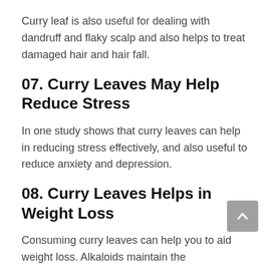Curry leaf is also useful for dealing with dandruff and flaky scalp and also helps to treat damaged hair and hair fall.
07. Curry Leaves May Help Reduce Stress
In one study shows that curry leaves can help in reducing stress effectively, and also useful to reduce anxiety and depression.
08. Curry Leaves Helps in Weight Loss
Consuming curry leaves can help you to aid weight loss. Alkaloids maintain the